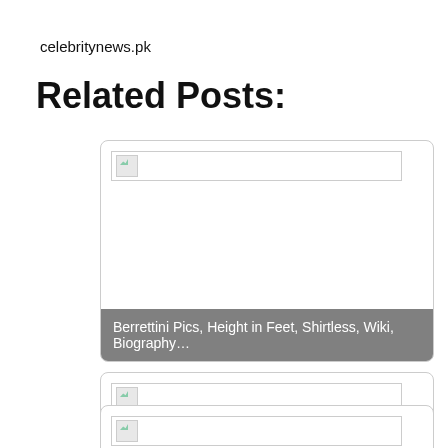celebritynews.pk
Related Posts:
[Figure (photo): Broken image placeholder for Berrettini post card with caption overlay]
Berrettini Pics, Height in Feet, Shirtless, Wiki, Biography…
[Figure (photo): Broken image placeholder for Russell Wilson post card with caption overlay]
Russell Wilson Pics, Ex Wife Draft, First Marriage,…
[Figure (photo): Broken image placeholder for third post card (partial)]